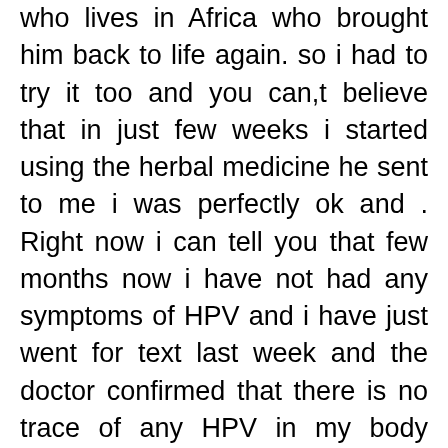who lives in Africa who brought him back to life again. so i had to try it too and you can,t believe that in just few weeks i started using the herbal medicine he sent to me i was perfectly ok and . Right now i can tell you that few months now i have not had any symptoms of HPV and i have just went for text last week and the doctor confirmed that there is no trace of any HPV in my body system. Glory be to God for leading me to this genuine DR.AKHIGBE I am so happy as i am sharing this testimony. My advice to you all who thinks that their is no cure for HPV that is Not true ,just contact him and get cure from DR.AKHIGBE via his Email DRAKHIGBESPELLHOME@GMAIL.COM and you will be free and free forever, Try it and you will not regret it because it truly works. One thing i have come to realize is that you never know how true it is until you try...or you can whatsapp him +2348106618681, OR Email him DRAKHIGBESPELLHOME@GMAIL.COM OR if you need my assistant via mail:jamesava001@gmail.com